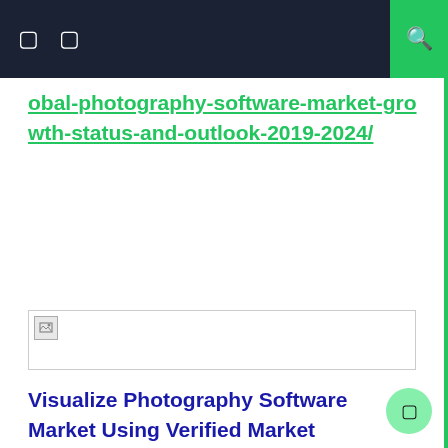☰ ⊕ 🔍
obal-photography-software-market-growth-status-and-outlook-2019-2024/
[Figure (other): Broken image placeholder with small icon in top-left corner]
Visualize Photography Software Market Using Verified Market Intelligence: –
Verified Market Intelligence is our BI platform for narrative storytelling for this market. VMI offers in-depth forecasting trends and accurate insight into